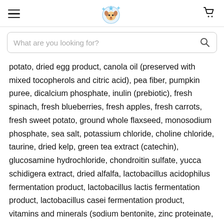[hamburger menu] [Bubble Pets logo] [cart icon]
What are you looking for?
potato, dried egg product, canola oil (preserved with mixed tocopherols and citric acid), pea fiber, pumpkin puree, dicalcium phosphate, inulin (prebiotic), fresh spinach, fresh blueberries, fresh apples, fresh carrots, fresh sweet potato, ground whole flaxseed, monosodium phosphate, sea salt, potassium chloride, choline chloride, taurine, dried kelp, green tea extract (catechin), glucosamine hydrochloride, chondroitin sulfate, yucca schidigera extract, dried alfalfa, lactobacillus acidophilus fermentation product, lactobacillus lactis fermentation product, lactobacillus casei fermentation product, vitamins and minerals (sodium bentonite, zinc proteinate, iron proteinate, vegetable oil, vitamin E, copper proteinate, manganous proteinate, B12 vitamin, niacin, sodium selenite, calcium D-pantothenate, folic acid, vitamin A, riboflavin, calcium iodate, thiamine mononitrate, pyridoxine hydrochloride, vitamin B3), natural flavor